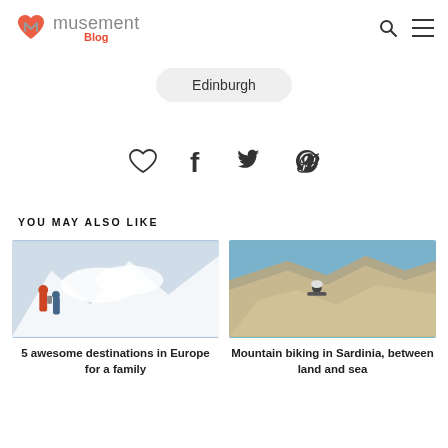musement Blog
Edinburgh
[Figure (infographic): Social sharing icons row: heart/like, Facebook, Twitter, Pinterest]
YOU MAY ALSO LIKE
[Figure (photo): Two people with hiking/ski gear standing on a snowy mountain peak with clouds below]
5 awesome destinations in Europe for a family ski holiday
[Figure (photo): Person mountain biking on rocky coastal cliffs with turquoise sea below in Sardinia]
Mountain biking in Sardinia, between land and sea